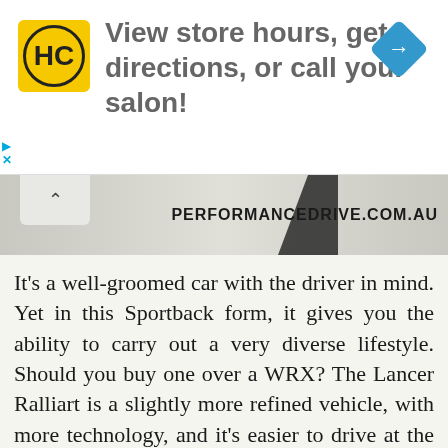[Figure (other): Advertisement banner with HC logo (yellow rounded square with HC text), text 'View store hours, get directions, or call your salon!', and a blue navigation/map pin diamond icon on the right. Small play and X icons on the left edge.]
[Figure (other): Website branding bar showing 'PERFORMANCEDRIVE.COM.AU' watermark in bold black text over a gray gradient background with diagonal black stripe accent and a tab with caret (^) on the left.]
It's a well-groomed car with the driver in mind. Yet in this Sportback form, it gives you the ability to carry out a very diverse lifestyle. Should you buy one over a WRX? The Lancer Ralliart is a slightly more refined vehicle, with more technology, and it's easier to drive at the limit. If these things are important to, we suggest the Ralliart. And if practicality is up there in your checklist, there's even more reason to go the Mitsubishi. However, if you can't get enough of that boxer throb, the Subaru wins in the sound department.